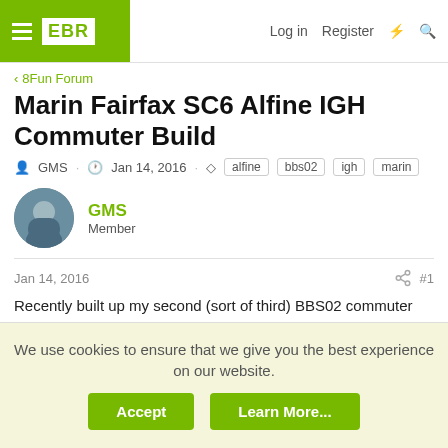EBR | Log in | Register
< 8Fun Forum
Marin Fairfax SC6 Alfine IGH Commuter Build
GMS · Jan 14, 2016 · alfine bbs02 igh marin
GMS
Member
Jan 14, 2016 #1
Recently built up my second (sort of third) BBS02 commuter build on a 2014 Marin Fairfax SC6 with an Shimano Alfine 11 speed IGH. While I only have about 20-30 miles on the build so far, I absolutely love the IGH. The shifting is very smooth and precise, but does require cutting power in
We use cookies to ensure that we give you the best experience on our website.
Accept | Learn More...